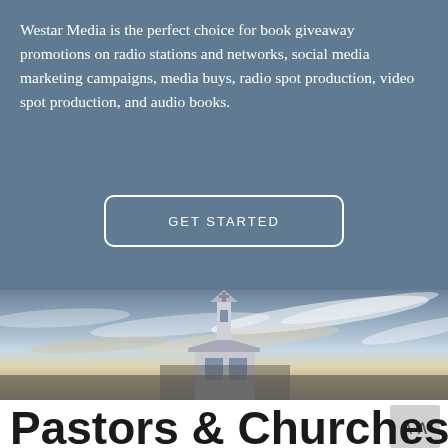Westar Media is the perfect choice for book giveaway promotions on radio stations and networks, social media marketing campaigns, media buys, radio spot production, video spot production, and audio books.
[Figure (other): A button with white border and text 'GET STARTED' on a steel-blue background]
[Figure (photo): A church steeple against a dramatic sky with clouds at dusk/dawn, warm golden tones on the horizon]
Pastors & Churches